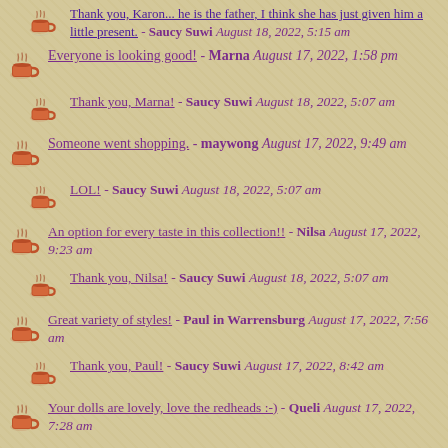Thank you, Karon... he is the father, I think she has just given him a little present. - Saucy Suwi August 18, 2022, 5:15 am
Everyone is looking good! - Marna August 17, 2022, 1:58 pm
Thank you, Marna! - Saucy Suwi August 18, 2022, 5:07 am
Someone went shopping. - maywong August 17, 2022, 9:49 am
LOL! - Saucy Suwi August 18, 2022, 5:07 am
An option for every taste in this collection!! - Nilsa August 17, 2022, 9:23 am
Thank you, Nilsa! - Saucy Suwi August 18, 2022, 5:07 am
Great variety of styles! - Paul in Warrensburg August 17, 2022, 7:56 am
Thank you, Paul! - Saucy Suwi August 17, 2022, 8:42 am
Your dolls are lovely, love the redheads :-) - Queli August 17, 2022, 7:28 am
Thank you, Queli! - Saucy Suwi August 17, 8:39 am